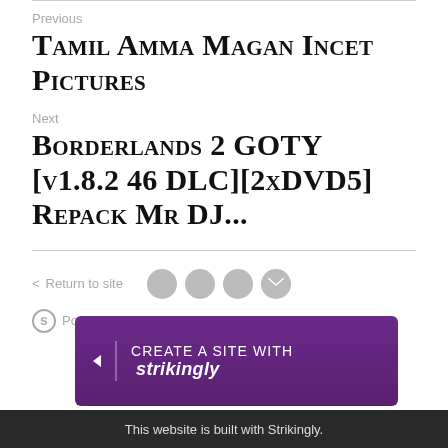Previous
Tamil Amma Magan Incet Pictures
Next
Borderlands 2 GOTY [v1.8.2 46 DLC][2xDVD5] Repack Mr DJ...
< Return to site
Powered by Strikingly
CREATE A SITE WITH strikingly
This website is built with Strikingly.